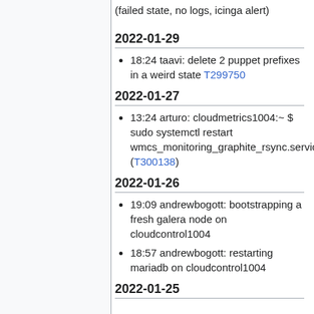(failed state, no logs, icinga alert)
2022-01-29
18:24 taavi: delete 2 puppet prefixes in a weird state T299750
2022-01-27
13:24 arturo: cloudmetrics1004:~ $ sudo systemctl restart wmcs_monitoring_graphite_rsync.service (T300138)
2022-01-26
19:09 andrewbogott: bootstrapping a fresh galera node on cloudcontrol1004
18:57 andrewbogott: restarting mariadb on cloudcontrol1004
2022-01-25